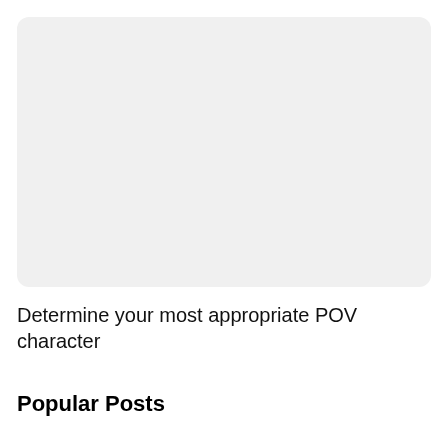[Figure (other): Light gray rounded rectangle placeholder image area]
Determine your most appropriate POV character
Popular Posts